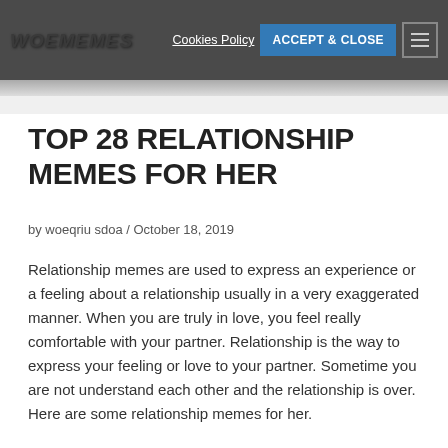WOEMEMES | Cookies Policy | ACCEPT & CLOSE
TOP 28 RELATIONSHIP MEMES FOR HER
by woeqriu sdoa / October 18, 2019
Relationship memes are used to express an experience or a feeling about a relationship usually in a very exaggerated manner. When you are truly in love, you feel really comfortable with your partner. Relationship is the way to express your feeling or love to your partner. Sometime you are not understand each other and the relationship is over. Here are some relationship memes for her.